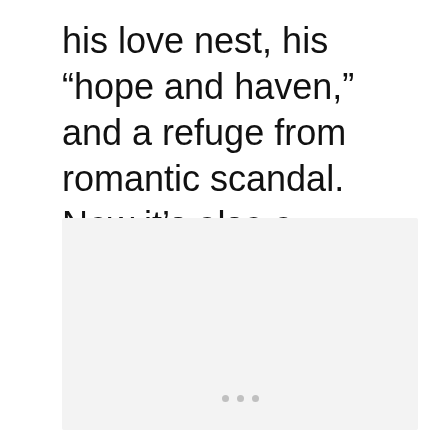his love nest, his “hope and haven,” and a refuge from romantic scandal. Now it’s also a UNESCO site.
[Figure (photo): A light grey rectangular placeholder image area with three small grey dots centered near the bottom, indicating a loading or empty image placeholder.]